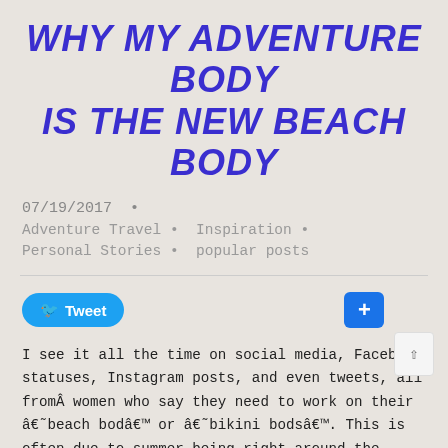WHY MY ADVENTURE BODY IS THE NEW BEACH BODY
07/19/2017  •
Adventure Travel • Inspiration • Personal Stories • popular posts
[Figure (other): Tweet button and plus/share button social media widgets]
I see it all the time on social media, Facebook statuses, Instagram posts, and even tweets, all fromÂ women who say they need to work on their â€˜beach bodâ€™ or â€˜bikini bodsâ€™. This is often due to summer being right around the corner, more likely in my social circle, a trip they have coming up. Any time they may be seen on a beach, or